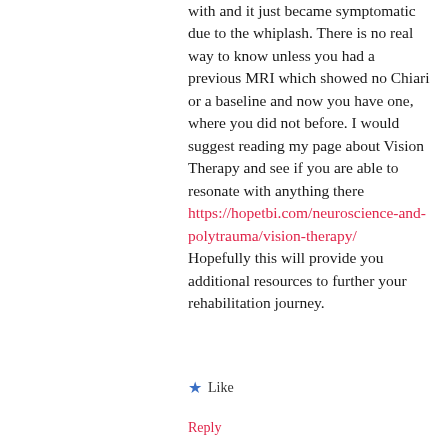with and it just became symptomatic due to the whiplash. There is no real way to know unless you had a previous MRI which showed no Chiari or a baseline and now you have one, where you did not before. I would suggest reading my page about Vision Therapy and see if you are able to resonate with anything there https://hopetbi.com/neuroscience-and-polytrauma/vision-therapy/ Hopefully this will provide you additional resources to further your rehabilitation journey.
★ Like
Reply